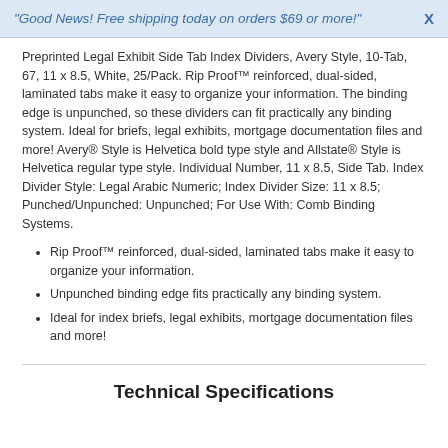"Good News! Free shipping today on orders $69 or more!"  X
Preprinted Legal Exhibit Side Tab Index Dividers, Avery Style, 10-Tab, 67, 11 x 8.5, White, 25/Pack. Rip Proof™ reinforced, dual-sided, laminated tabs make it easy to organize your information. The binding edge is unpunched, so these dividers can fit practically any binding system. Ideal for briefs, legal exhibits, mortgage documentation files and more! Avery® Style is Helvetica bold type style and Allstate® Style is Helvetica regular type style. Individual Number, 11 x 8.5, Side Tab. Index Divider Style: Legal Arabic Numeric; Index Divider Size: 11 x 8.5; Punched/Unpunched: Unpunched; For Use With: Comb Binding Systems.
Rip Proof™ reinforced, dual-sided, laminated tabs make it easy to organize your information.
Unpunched binding edge fits practically any binding system.
Ideal for index briefs, legal exhibits, mortgage documentation files and more!
Technical Specifications